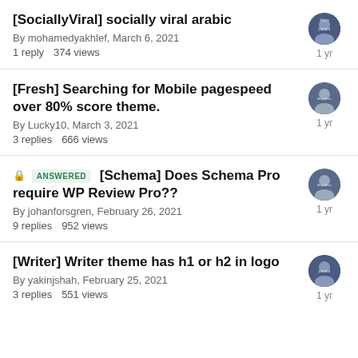[SociallyViral] socially viral arabic
By mohamedyakhlef, March 6, 2021
1 reply   374 views
[Fresh] Searching for Mobile pagespeed over 80% score theme.
By Lucky10, March 3, 2021
3 replies   666 views
[Schema] Does Schema Pro require WP Review Pro??
By johanforsgren, February 26, 2021
9 replies   952 views
[Writer] Writer theme has h1 or h2 in logo
By yakinjshah, February 25, 2021
3 replies   551 views